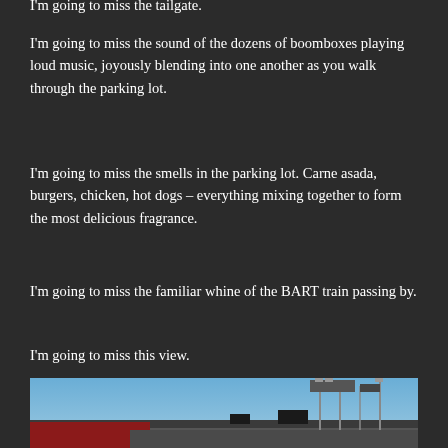I'm going to miss the tailgate.
I'm going to miss the sound of the dozens of boomboxes playing loud music, joyously blending into one another as you walk through the parking lot.
I'm going to miss the smells in the parking lot. Carne asada, burgers, chicken, hot dogs – everything mixing together to form the most delicious fragrance.
I'm going to miss the familiar whine of the BART train passing by.
I'm going to miss this view.
[Figure (photo): Stadium view from the tailgate parking lot, showing the stadium structure against a blue sky with light towers and signage visible, crowd seated in stands.]